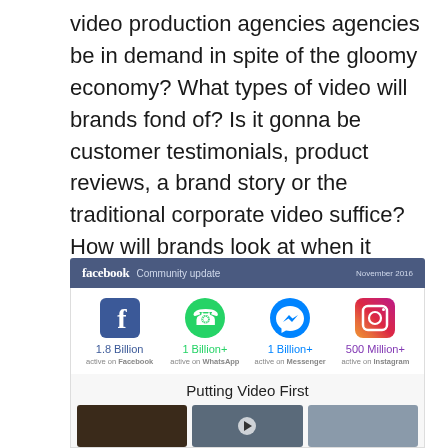video production agencies agencies be in demand in spite of the gloomy economy? What types of video will brands fond of? Is it gonna be customer testimonials, product reviews, a brand story or the traditional corporate video suffice? How will brands look at when it comes to video marketing platforms?
[Figure (infographic): Facebook Community Update infographic showing user statistics for Facebook (1.8 Billion active), WhatsApp (1 Billion+), Messenger (1 Billion+), Instagram (500 Million+), followed by a 'Putting Video First' section with video thumbnails.]